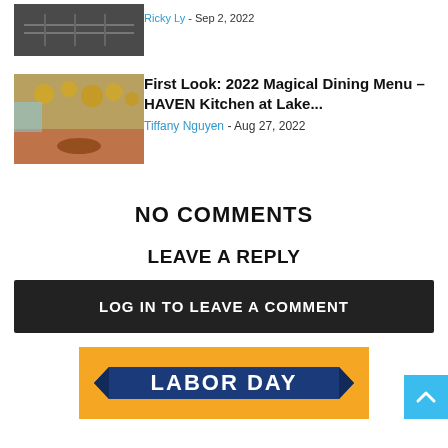[Figure (photo): Top partially visible restaurant photo (dark interior with table settings)]
Ricky Ly - Sep 2, 2022
[Figure (photo): HAVEN Kitchen at Lake restaurant interior with golden globe lights and circular tables]
First Look: 2022 Magical Dining Menu – HAVEN Kitchen at Lake...
Tiffany Nguyen - Aug 27, 2022
NO COMMENTS
LEAVE A REPLY
LOG IN TO LEAVE A COMMENT
[Figure (illustration): Labor Day promotional banner with orange background and blue ribbon logo]